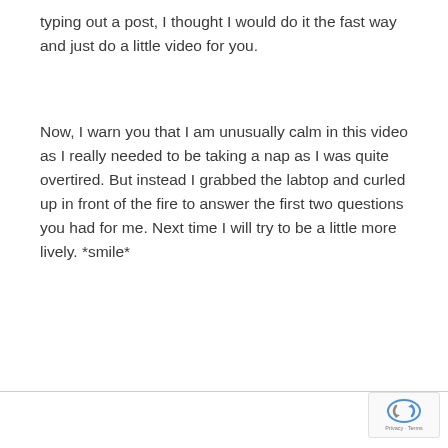typing out a post, I thought I would do it the fast way and just do a little video for you.
Now, I warn you that I am unusually calm in this video as I really needed to be taking a nap as I was quite overtired. But instead I grabbed the labtop and curled up in front of the fire to answer the first two questions you had for me. Next time I will try to be a little more lively. *smile*
[Figure (logo): reCAPTCHA badge with Privacy and Terms text]